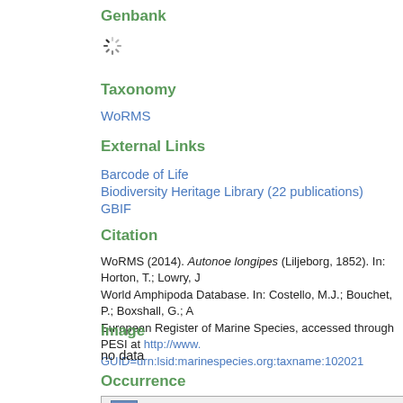Genbank
[Figure (other): Loading spinner icon]
Taxonomy
WoRMS
External Links
Barcode of Life
Biodiversity Heritage Library (22 publications)
GBIF
Citation
WoRMS (2014). Autonoe longipes (Liljeborg, 1852). In: Horton, T.; Lowry, J World Amphipoda Database. In: Costello, M.J.; Bouchet, P.; Boxshall, G.; A European Register of Marine Species, accessed through PESI at http://www. GUID=urn:lsid:marinespecies.org:taxname:102021
Image
no data
Occurrence
[Figure (map): Interactive map with zoom in (+) and zoom out (-) buttons]